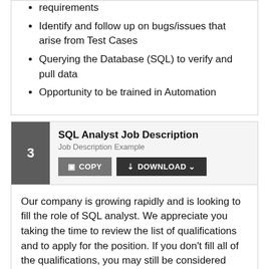requirements
Identify and follow up on bugs/issues that arise from Test Cases
Querying the Database (SQL) to verify and pull data
Opportunity to be trained in Automation
SQL Analyst Job Description
Job Description Example
Our company is growing rapidly and is looking to fill the role of SQL analyst. We appreciate you taking the time to review the list of qualifications and to apply for the position. If you don't fill all of the qualifications, you may still be considered depending on your level of experience.